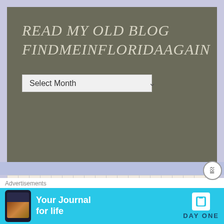READ MY OLD BLOG FINDMEINFLORIDAAGAIN
Select Month
Follow Blog via Email
Enter your email address to follow this blog and receive
Advertisements
[Figure (infographic): Day One app advertisement banner: 'Your Journal for life' with a phone image and Day ONE logo on cyan background]